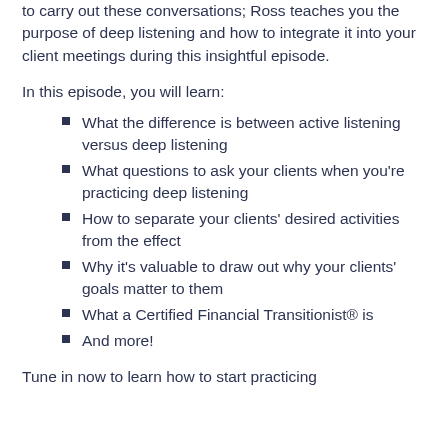to carry out these conversations; Ross teaches you the purpose of deep listening and how to integrate it into your client meetings during this insightful episode.
In this episode, you will learn:
What the difference is between active listening versus deep listening
What questions to ask your clients when you're practicing deep listening
How to separate your clients' desired activities from the effect
Why it's valuable to draw out why your clients' goals matter to them
What a Certified Financial Transitionist® is
And more!
Tune in now to learn how to start practicing